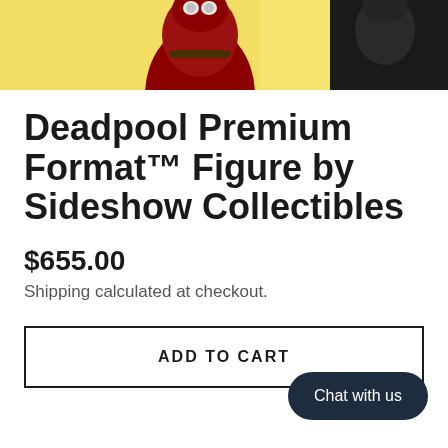[Figure (photo): Product image showing Deadpool Premium Format Figure - red costumed figure on left with yellow background, dark figure on right]
Deadpool Premium Format™ Figure by Sideshow Collectibles
$655.00
Shipping calculated at checkout.
ADD TO CART
Chat with us